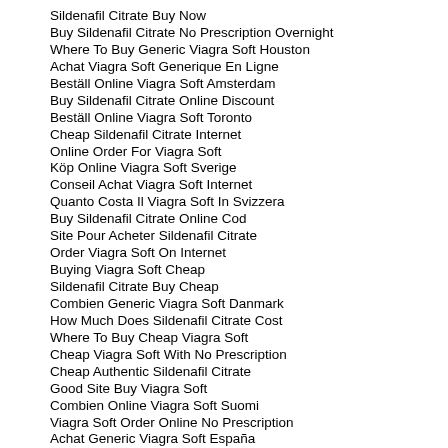Sildenafil Citrate Buy Now
Buy Sildenafil Citrate No Prescription Overnight
Where To Buy Generic Viagra Soft Houston
Achat Viagra Soft Generique En Ligne
Beställ Online Viagra Soft Amsterdam
Buy Sildenafil Citrate Online Discount
Beställ Online Viagra Soft Toronto
Cheap Sildenafil Citrate Internet
Online Order For Viagra Soft
Köp Online Viagra Soft Sverige
Conseil Achat Viagra Soft Internet
Quanto Costa Il Viagra Soft In Svizzera
Buy Sildenafil Citrate Online Cod
Site Pour Acheter Sildenafil Citrate
Order Viagra Soft On Internet
Buying Viagra Soft Cheap
Sildenafil Citrate Buy Cheap
Combien Generic Viagra Soft Danmark
How Much Does Sildenafil Citrate Cost
Where To Buy Cheap Viagra Soft
Cheap Viagra Soft With No Prescription
Cheap Authentic Sildenafil Citrate
Good Site Buy Viagra Soft
Combien Online Viagra Soft Suomi
Viagra Soft Order Online No Prescription
Achat Generic Viagra Soft España
Order Sildenafil Citrate Online Reviews
Sildenafil Citrate Overnight Order
Purchase Online Viagra Soft Inghilterra
Conseil Acheter Viagra Soft
Achat Cheap Viagra Soft Norge
How To Buy Cheap Viagra Soft